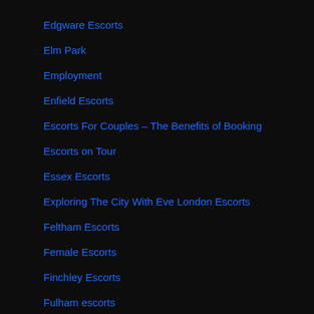Edgware Escorts
Elm Park
Employment
Enfield Escorts
Escorts For Couples – The Benefits of Booking
Escorts on Tour
Essex Escorts
Exploring The City With Eve London Escorts
Feltham Escorts
Female Escorts
Finchley Escorts
Fulham escorts
Gallery
Gatwick escorts
Gay Escorts
General Listings